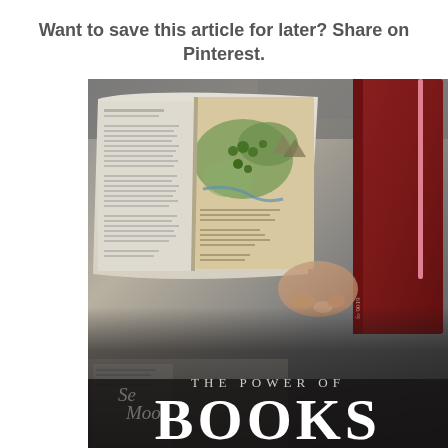Want to save this article for later? Share on Pinterest.
[Figure (photo): Person lying on bed holding an open book with a fantasy map on the left page, and a red hardcover book on the right. Overlaid text at the bottom reads 'THE POWER OF BOOKS' with decorative dots and a smaller book visible lower left.]